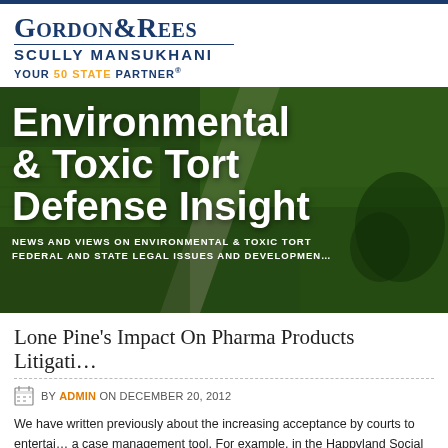[Figure (logo): Gordon & Rees Scully Mansukhani law firm logo with tagline 'Your 50 State Partner']
[Figure (photo): Aerial photograph of green agricultural fields with road, overlaid with large white bold text reading 'Environmental & Toxic Tort Defense Insight' and subtitle 'News and views on environmental & toxic tort federal and state legal issues and developments']
Lone Pine's Impact On Pharma Products Litigati…
BY ADMIN ON DECEMBER 20, 2012
We have written previously about the increasing acceptance by courts to entertain a case management tool. For example, in the Happyland Social Club Fire litig…